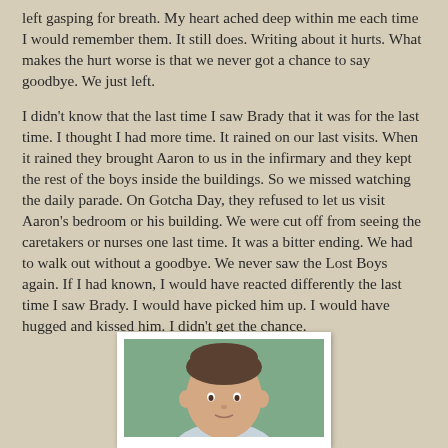left gasping for breath.  My heart ached deep within me each time I would remember them.  It still does.  Writing about it hurts.  What makes the hurt worse is that we never got a chance to say goodbye.  We just left.
I didn't know that the last time I saw Brady that it was for the last time.  I thought I had more time.  It rained on our last visits.  When it rained they brought Aaron to us in the infirmary and they kept the rest of the boys inside the buildings.  So we missed watching the daily parade.  On Gotcha Day, they refused to let us visit Aaron's bedroom or his building.  We were cut off from seeing the caretakers or nurses one last time.  It was a bitter ending.  We had to walk out without a goodbye.  We never saw the Lost Boys again.  If I had known, I would have reacted differently the last time I saw Brady.  I would have picked him up.  I would have hugged and kissed him.  I didn't get the chance.
[Figure (photo): A photograph of a young child with short hair against a green background, shown from approximately chest up. The photo is framed with a white border.]